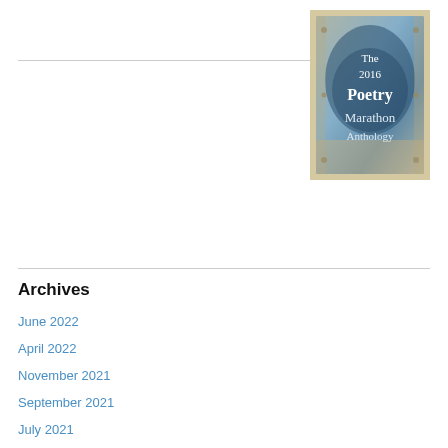[Figure (illustration): Book cover for 'The 2016 Poetry Marathon Anthology' with a weathered blue-grey textured background and white serif text]
Archives
June 2022
April 2022
November 2021
September 2021
July 2021